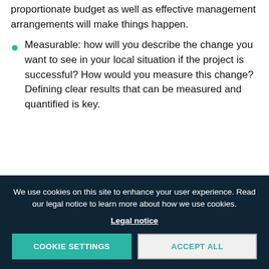proportionate budget as well as effective management arrangements will make things happen.
Measurable: how will you describe the change you want to see in your local situation if the project is successful? How would you measure this change? Defining clear results that can be measured and quantified is key.
We use cookies on this site to enhance your user experience. Read our legal notice to learn more about how we use cookies.
Legal notice
COOKIE SETTINGS
ACCEPT ALL